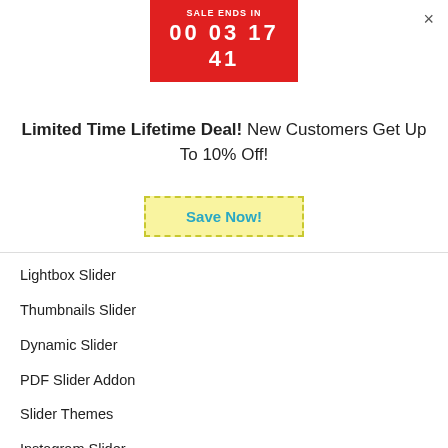[Figure (infographic): Red sale countdown banner showing SALE ENDS IN with timer 00 03 17 41]
× (close button)
Limited Time Lifetime Deal! New Customers Get Up To 10% Off!
Save Now!
Lightbox Slider
Thumbnails Slider
Dynamic Slider
PDF Slider Addon
Slider Themes
Instagram Slider
Slider Demos
Carousel Slider
Featured Content Slider